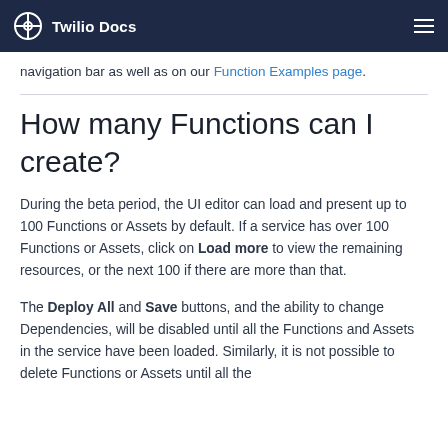Twilio Docs
navigation bar as well as on our Function Examples page.
How many Functions can I create?
During the beta period, the UI editor can load and present up to 100 Functions or Assets by default. If a service has over 100 Functions or Assets, click on Load more to view the remaining resources, or the next 100 if there are more than that.
The Deploy All and Save buttons, and the ability to change Dependencies, will be disabled until all the Functions and Assets in the service have been loaded. Similarly, it is not possible to delete Functions or Assets until all the